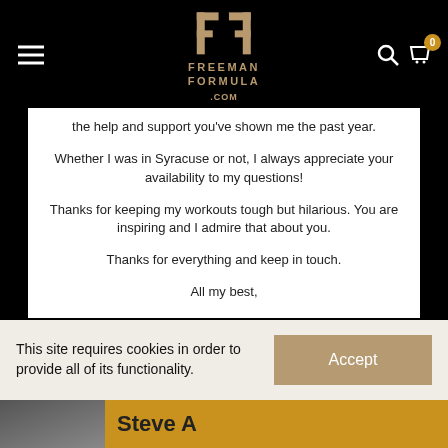[Figure (logo): Freeman Formula .com logo in gold/tan color with stylized FF monogram]
the help and support you've shown me the past year.

Whether I was in Syracuse or not, I always appreciate your availability to my questions!

Thanks for keeping my workouts tough but hilarious. You are inspiring and I admire that about you.

Thanks for everything and keep in touch.

All my best,
This site requires cookies in order to provide all of its functionality.
Accept
Steve A